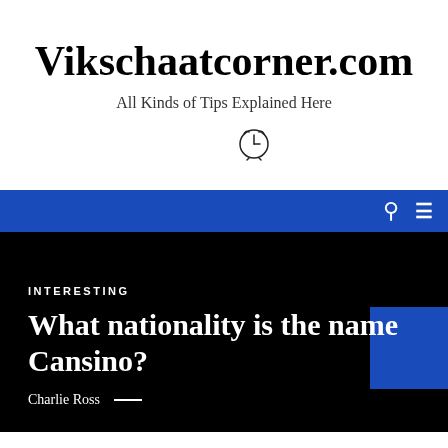Vikschaatcorner.com
All Kinds of Tips Explained Here
[Figure (illustration): Clock/alarm icon in thin line style]
Navigation bar with search and menu icons
INTERESTING
What nationality is the name Cansino?
Charlie Ross —